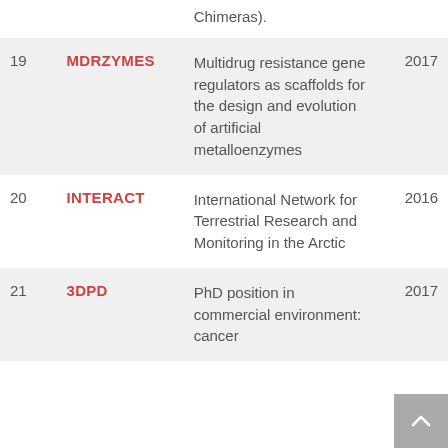| # | Name | Description | Year |
| --- | --- | --- | --- |
|  |  | Chimeras). |  |
| 19 | MDRZYMES | Multidrug resistance gene regulators as scaffolds for the design and evolution of artificial metalloenzymes | 2017 |
| 20 | INTERACT | International Network for Terrestrial Research and Monitoring in the Arctic | 2016 |
| 21 | 3DPD | PhD position in commercial environment: cancer | 2017 |